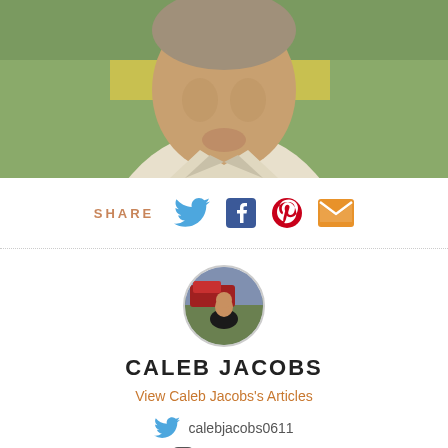[Figure (photo): Cropped photo of an elderly man in a light-colored jacket, top portion of face shown]
SHARE
[Figure (infographic): Social share icons: Twitter (blue bird), Facebook (blue F), Pinterest (red P), Email (orange envelope)]
[Figure (photo): Circular avatar photo of Caleb Jacobs, a person sitting outdoors]
CALEB JACOBS
View Caleb Jacobs's Articles
calebjacobs0611
calebjwords